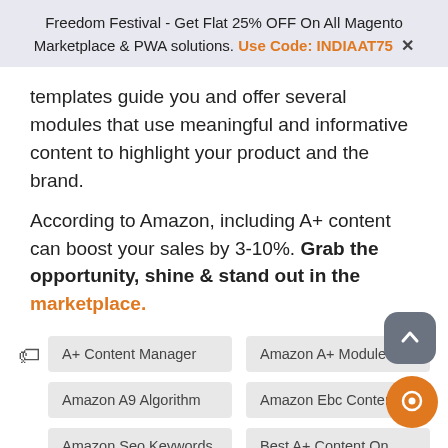Freedom Festival - Get Flat 25% OFF On All Magento Marketplace & PWA solutions. Use Code: INDIAAT75 ✕
templates guide you and offer several modules that use meaningful and informative content to highlight your product and the brand.
According to Amazon, including A+ content can boost your sales by 3-10%. Grab the opportunity, shine & stand out in the marketplace.
A+ Content Manager
Amazon A+ Modules
Amazon A9 Algorithm
Amazon Ebc Content
Amazon Seo Keywords
Best A+ Content On Amazon
Boost Amazon Sales